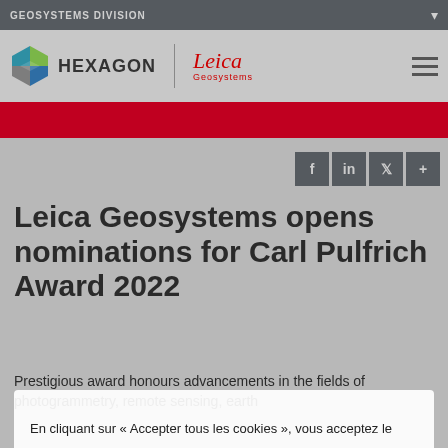GEOSYSTEMS DIVISION
[Figure (logo): Hexagon | Leica Geosystems logo with hexagon icon on gray header bar]
Leica Geosystems opens nominations for Carl Pulfrich Award 2022
Prestigious award honours advancements in the fields of photogrammetry, remote sensing, earth
En cliquant sur « Accepter tous les cookies », vous acceptez le